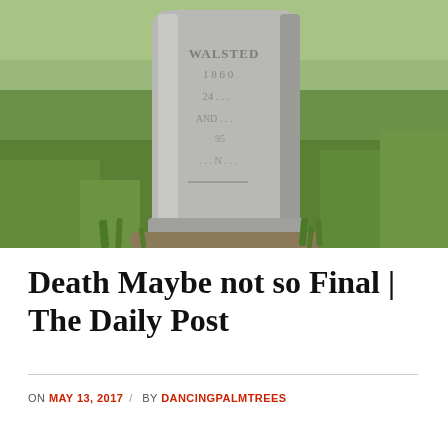[Figure (photo): A weathered stone grave marker in a grassy cemetery. Partially legible text carved on the stone appears to include 'WALSTED' and numbers/letters suggesting dates, surrounded by green grass.]
Death Maybe not so Final | The Daily Post
ON MAY 13, 2017 / BY DANCINGPALMTREES